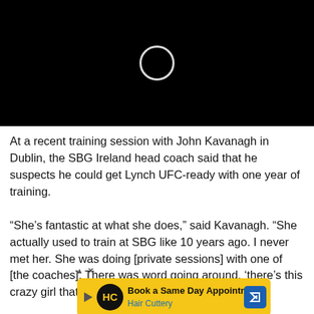[Figure (screenshot): Black video player with a white loading spinner circle in the upper center area]
At a recent training session with John Kavanagh in Dublin, the SBG Ireland head coach said that he suspects he could get Lynch UFC-ready with one year of training.
“She’s fantastic at what she does,” said Kavanagh. “She actually used to train at SBG like 10 years ago. I never met her. She was doing [private sessions] with one of [the coaches]. There was word going around, ‘there’s this crazy girl that wants to learn fl[ying armbars...] he’s very gr[eat]’
[Figure (screenshot): Advertisement banner for Hair Cuttery: yellow background with HC logo, text 'Book a Same Day Appointment' and 'Hair Cuttery', blue navigation icon on right, play button and X button on left]